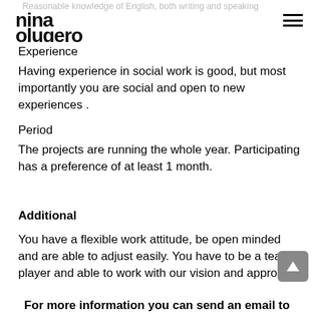Reasonable knowledge of English, both writing and speaking
[Figure (logo): Nina Olugero logo in black stylized text]
Experience
Having experience in social work is good, but most importantly you are social and open to new experiences .
Period
The projects are running the whole year. Participating has a preference of at least 1 month.
Additional
You have a flexible work attitude, be open minded and are able to adjust easily. You have to be a team player and able to work with our vision and approach.
For more information you can send an email to